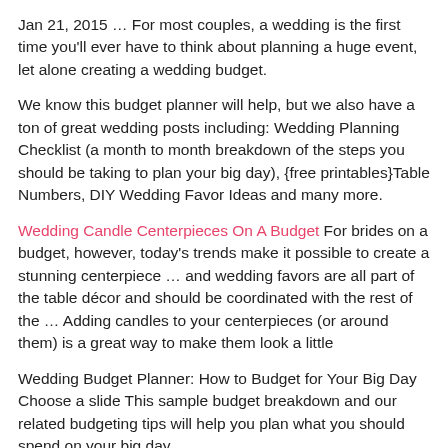Jan 21, 2015 … For most couples, a wedding is the first time you'll ever have to think about planning a huge event, let alone creating a wedding budget.
We know this budget planner will help, but we also have a ton of great wedding posts including: Wedding Planning Checklist (a month to month breakdown of the steps you should be taking to plan your big day), {free printables}Table Numbers, DIY Wedding Favor Ideas and many more.
Wedding Candle Centerpieces On A Budget For brides on a budget, however, today's trends make it possible to create a stunning centerpiece … and wedding favors are all part of the table décor and should be coordinated with the rest of the … Adding candles to your centerpieces (or around them) is a great way to make them look a little
Wedding Budget Planner: How to Budget for Your Big Day Choose a slide This sample budget breakdown and our related budgeting tips will help you plan what you should spend on your big day.
Detailed tips on how to start creating your wedding budget, plus 11 real wedding budget breakdowns from $2K to $30K, to inspire an amazing wedding. … How To Create A Perfect (For You) Wedding Budget. Expert tips on how wedding budget from $2K to $30K …